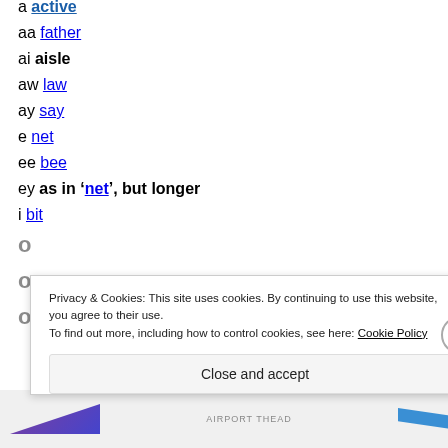a active
aa father
ai aisle
aw law
ay say
e net
ee bee
ey as in 'net', but longer
i bit
Privacy & Cookies: This site uses cookies. By continuing to use this website, you agree to their use. To find out more, including how to control cookies, see here: Cookie Policy
Close and accept